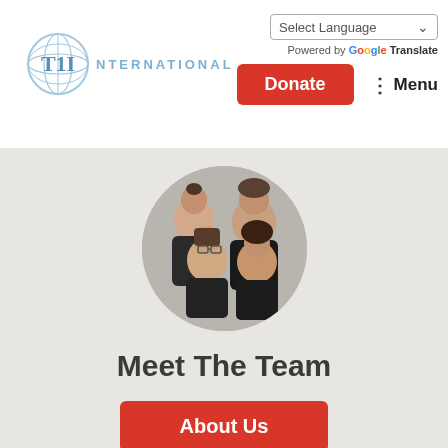[Figure (logo): T1I International logo with globe icon and stylized text]
[Figure (screenshot): Select Language dropdown widget powered by Google Translate]
[Figure (screenshot): Donate button (red) and Menu navigation icon]
[Figure (photo): Circular cropped group photo of four team members]
Meet The Team
About Us